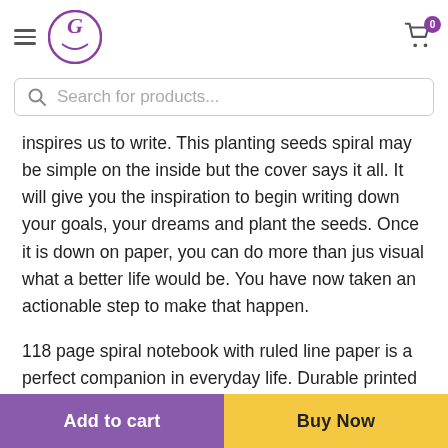[Figure (logo): Website header with hamburger menu, circular G logo in purple, and shopping cart icon with badge showing 0]
[Figure (screenshot): Search bar with magnifying glass icon and placeholder text 'Search for products...']
inspires us to write. This planting seeds spiral may be simple on the inside but the cover says it all. It will give you the inspiration to begin writing down your goals, your dreams and plant the seeds. Once it is down on paper, you can do more than jus visual what a better life would be. You have now taken an actionable step to make that happen.
118 page spiral notebook with ruled line paper is a perfect companion in everyday life. Durable printed cover makes
[Figure (screenshot): Bottom action bar with 'Add to cart' button in purple and 'Buy Now' button in yellow]